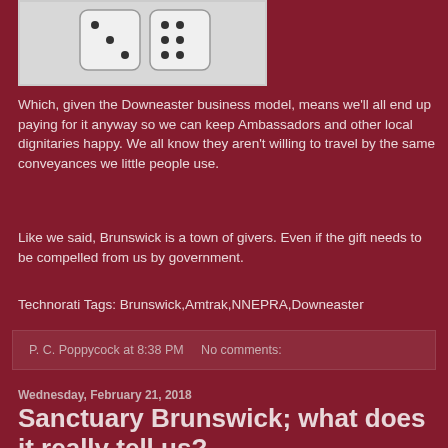[Figure (photo): Image of dice or similar object, shown in black and white within a bordered box]
Which, given the Downeaster business model, means we'll all end up paying for it anyway so we can keep Ambassadors and other local dignitaries happy.  We all know they aren't willing to travel by the same conveyances we little people use.
Like we said, Brunswick is a town of givers.  Even if the gift needs to be compelled from us by government.
Technorati Tags: Brunswick,Amtrak,NNEPRA,Downeaster
P. C. Poppycock at 8:38 PM    No comments:
Wednesday, February 21, 2018
Sanctuary Brunswick; what does it really tell us?